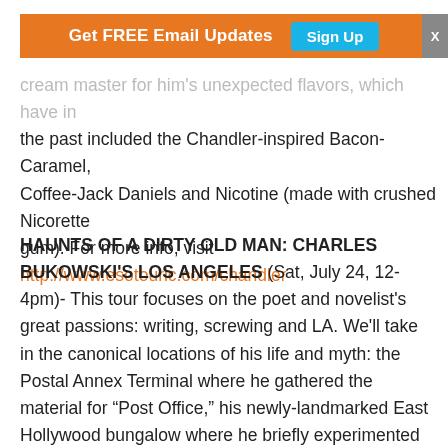Get FREE Email Updates  Sign Up  X
cream master for him's unexpected flavors, which have in the past included the Chandler-inspired Bacon-Caramel, Coffee-Jack Daniels and Nicotine (made with crushed Nicorette
gum). For more info, visit http://www.esotouric.com/chandler
HAUNTS OF A DIRTY OLD MAN: CHARLES BUKOWSKI'S LOS ANGELES (Sat, July 24, 12-4pm)- This tour focuses on the poet and novelist's great passions: writing, screwing and LA. We'll take in the canonical locations of his life and myth: the Postal Annex Terminal where he gathered the material for “Post Office,” his newly-landmarked East Hollywood bungalow where he briefly experimented with marriage and fatherhood, the Skid Row bars where he tuned his young writer’s ear to the voices of old rummies to the once-genteel Crown Hill apartments where he fought with his first love Jane, favorite bars and liquor stores, “Barfly” locations to the downtown library, where he discovered his “God,” novelist John Fante. Now the tour will explore these and more...